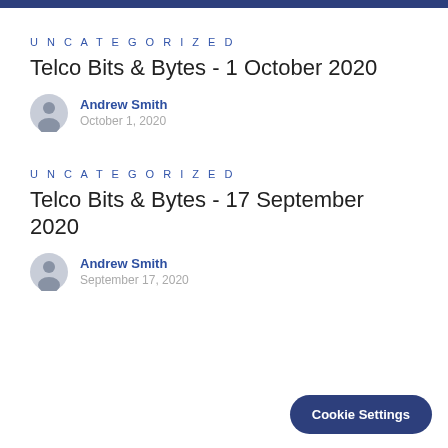Uncategorized
Telco Bits & Bytes - 1 October 2020
Andrew Smith
October 1, 2020
Uncategorized
Telco Bits & Bytes - 17 September 2020
Andrew Smith
September 17, 2020
Cookie Settings